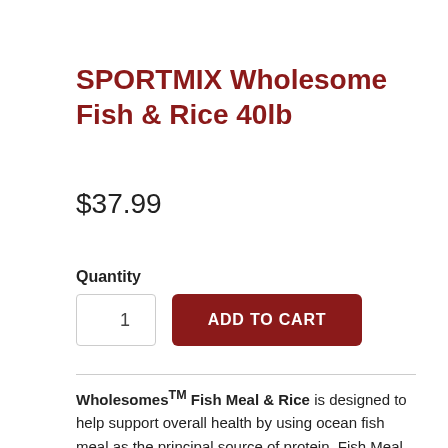SPORTMIX Wholesome Fish & Rice 40lb
$37.99
Quantity
ADD TO CART
Wholesomes™ Fish Meal & Rice is designed to help support overall health by using ocean fish meal as the principal source of protein. Fish Meal & Rice is made with...